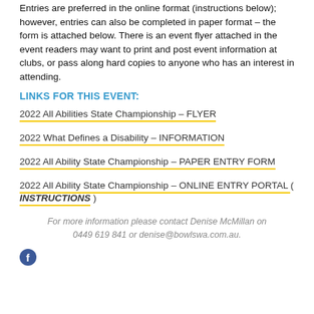Entries are preferred in the online format (instructions below); however, entries can also be completed in paper format – the form is attached below.  There is an event flyer attached in the event readers may want to print and post event information at clubs, or pass along hard copies to anyone who has an interest in attending.
LINKS FOR THIS EVENT:
2022 All Abilities State Championship – FLYER
2022 What Defines a Disability – INFORMATION
2022 All Ability State Championship – PAPER ENTRY FORM
2022 All Ability State Championship – ONLINE ENTRY PORTAL ( INSTRUCTIONS )
For more information please contact Denise McMillan on 0449 619 841 or denise@bowlswa.com.au.